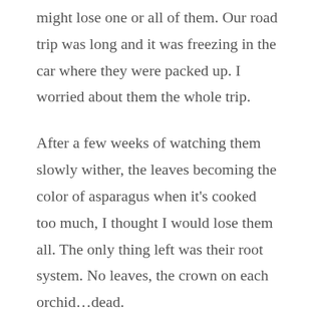might lose one or all of them. Our road trip was long and it was freezing in the car where they were packed up. I worried about them the whole trip.
After a few weeks of watching them slowly wither, the leaves becoming the color of asparagus when it's cooked too much, I thought I would lose them all. The only thing left was their root system. No leaves, the crown on each orchid…dead.
Yet, I couldn't do it. I couldn't throw them in